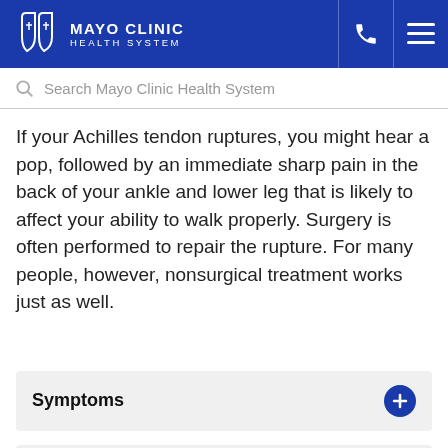MAYO CLINIC HEALTH SYSTEM
If your Achilles tendon ruptures, you might hear a pop, followed by an immediate sharp pain in the back of your ankle and lower leg that is likely to affect your ability to walk properly. Surgery is often performed to repair the rupture. For many people, however, nonsurgical treatment works just as well.
Symptoms
Causes